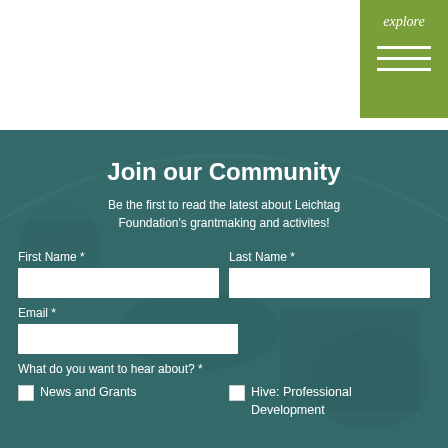explore
Join our Community
Be the first to read the latest about Leichtag Foundation's grantmaking and activites!
First Name *
Last Name *
Email *
What do you want to hear about? *
News and Grants
Hive: Professional Development